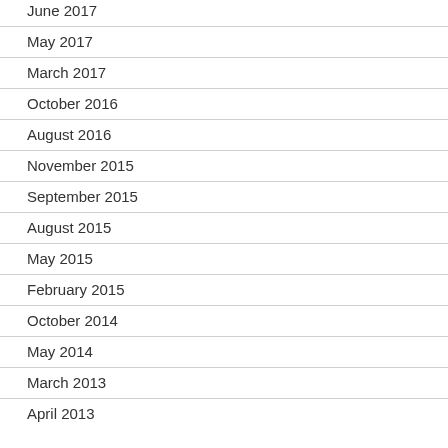June 2017
May 2017
March 2017
October 2016
August 2016
November 2015
September 2015
August 2015
May 2015
February 2015
October 2014
May 2014
March 2013
April 2013